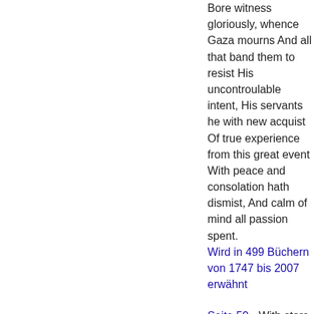Bore witness gloriously, whence Gaza mourns And all that band them to resist His uncontroulable intent, His servants he with new acquist Of true experience from this great event With peace and consolation hath dismist, And calm of mind all passion spent.
Wird in 499 Büchern von 1747 bis 2007 erwähnt
Seite 50 - With store of ladies, whose bright eyes Rain influence, and judge the prize Of wit or arms, while both contend To win her grace, whom all commend. There let Hymen oft appear In saffron robe, with taper clear, And pomp, and